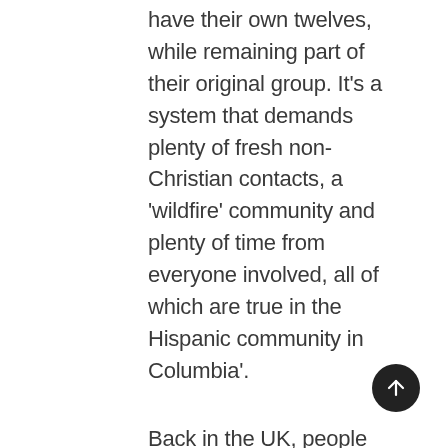have their own twelves, while remaining part of their original group. It's a system that demands plenty of fresh non-Christian contacts, a 'wildfire' community and plenty of time from everyone involved, all of which are true in the Hispanic community in Columbia'.
Back in the UK, people lead very different lives, from the 'Englishman's home is his castle' attitude to our static friendship groups and lifestyle, to perceived time pressures that restrict the number of formal 'meetings' that can be attended or convened each week. In short, G12 (or similar systems